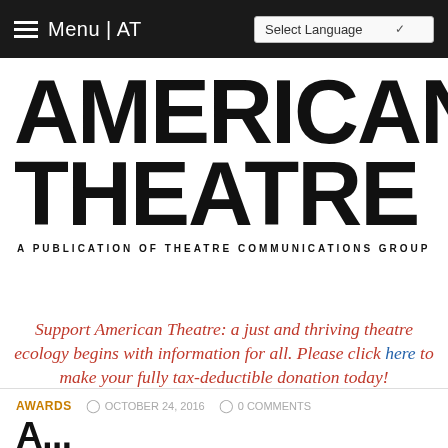Menu | AT   Select Language
[Figure (logo): American Theatre logo — large bold black sans-serif text reading AMERICAN THEATRE with subtitle A PUBLICATION OF THEATRE COMMUNICATIONS GROUP]
Support American Theatre: a just and thriving theatre ecology begins with information for all. Please click here to make your fully tax-deductible donation today!
AWARDS  OCTOBER 24, 2016  0 COMMENTS
A...